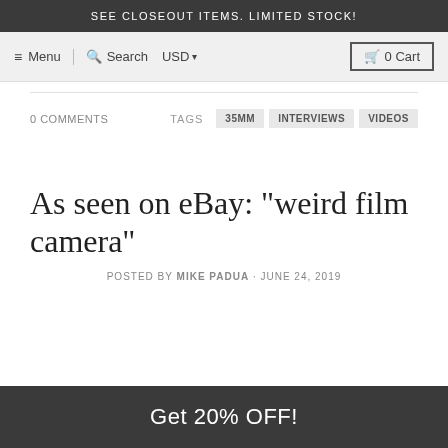SEE CLOSEOUT ITEMS. LIMITED STOCK!
≡ Menu  🔍 Search  USD ▾  🛒 0 Cart
0 COMMENTS   TAGS  35MM  INTERVIEWS  VIDEOS
As seen on eBay: "weird film camera"
POSTED BY MIKE PADUA · JUNE 24, 2019
Get 20% OFF!